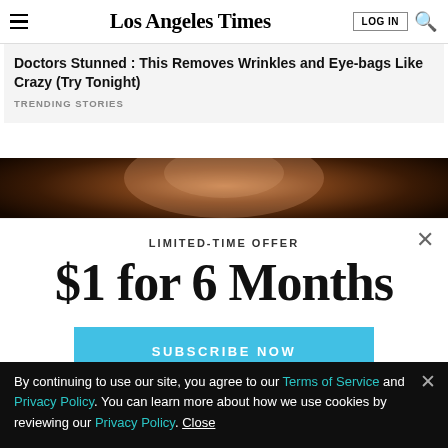Los Angeles Times
Doctors Stunned : This Removes Wrinkles and Eye-bags Like Crazy (Try Tonight)
TRENDING STORIES
[Figure (photo): Dark close-up photo of a person, partial face visible, dark brown tones]
LIMITED-TIME OFFER
$1 for 6 Months
SUBSCRIBE NOW
By continuing to use our site, you agree to our Terms of Service and Privacy Policy. You can learn more about how we use cookies by reviewing our Privacy Policy. Close